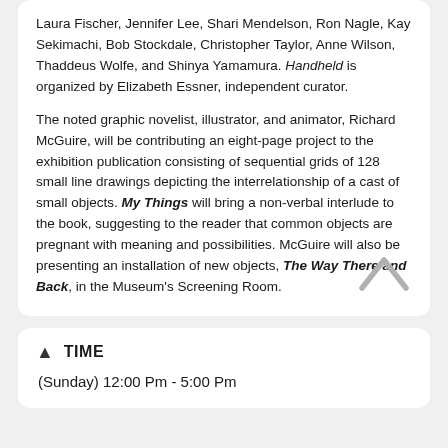Laura Fischer, Jennifer Lee, Shari Mendelson, Ron Nagle, Kay Sekimachi, Bob Stockdale, Christopher Taylor, Anne Wilson, Thaddeus Wolfe, and Shinya Yamamura. Handheld is organized by Elizabeth Essner, independent curator.

The noted graphic novelist, illustrator, and animator, Richard McGuire, will be contributing an eight-page project to the exhibition publication consisting of sequential grids of 128 small line drawings depicting the interrelationship of a cast of small objects. My Things will bring a non-verbal interlude to the book, suggesting to the reader that common objects are pregnant with meaning and possibilities. McGuire will also be presenting an installation of new objects, The Way There and Back, in the Museum's Screening Room.
TIME
(Sunday) 12:00 Pm - 5:00 Pm